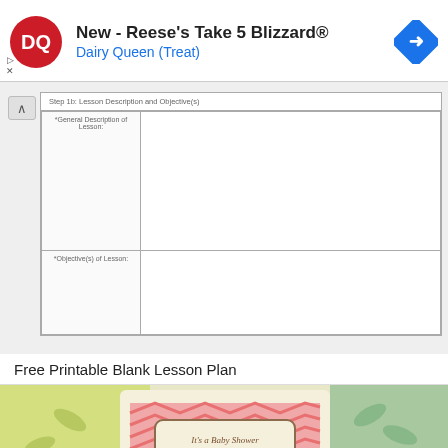[Figure (screenshot): Dairy Queen advertisement banner with DQ logo, text 'New - Reese's Take 5 Blizzard®' and 'Dairy Queen (Treat)', and a blue navigation icon]
| Step 1b: Lesson Description and Objective(s) |
| --- |
| *General Description of Lesson: |  |
| *Objective(s) of Lesson: |  |
Free Printable Blank Lesson Plan
[Figure (illustration): Colorful baby shower invitation cards with pink chevron pattern and text 'It's a Baby Shower']